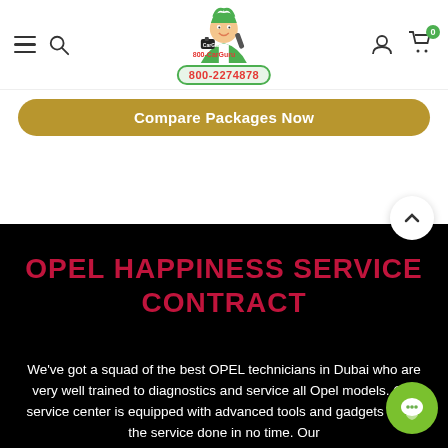[Figure (screenshot): 800-CarGuru website navigation bar with hamburger menu, search icon, logo with cartoon mechanic character, phone number 800-2274878, user icon, and cart icon with badge showing 0]
Compare Packages Now
OPEL HAPPINESS SERVICE CONTRACT
We've got a squad of the best OPEL technicians in Dubai who are very well trained to diagnostics and service all Opel models. Our service center is equipped with advanced tools and gadgets to get the service done in no time. Our